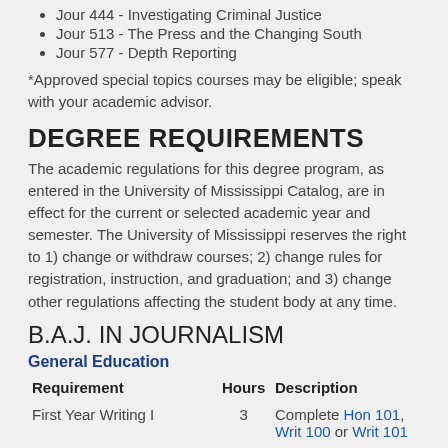Jour 444 - Investigating Criminal Justice
Jour 513 - The Press and the Changing South
Jour 577 - Depth Reporting
*Approved special topics courses may be eligible; speak with your academic advisor.
DEGREE REQUIREMENTS
The academic regulations for this degree program, as entered in the University of Mississippi Catalog, are in effect for the current or selected academic year and semester. The University of Mississippi reserves the right to 1) change or withdraw courses; 2) change rules for registration, instruction, and graduation; and 3) change other regulations affecting the student body at any time.
B.A.J. IN JOURNALISM
General Education
| Requirement | Hours | Description |
| --- | --- | --- |
| First Year Writing I | 3 | Complete Hon 101, Writ 100 or Writ 101 |